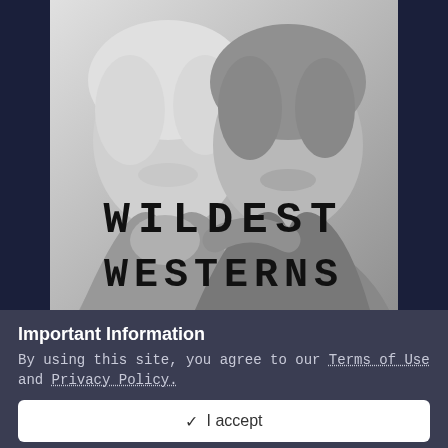[Figure (photo): Black and white photo of two smiling men with arms around each other, overlaid with large western-style text reading WILDEST WESTERNS]
Important Information
By using this site, you agree to our Terms of Use and Privacy Policy.
✓ I accept